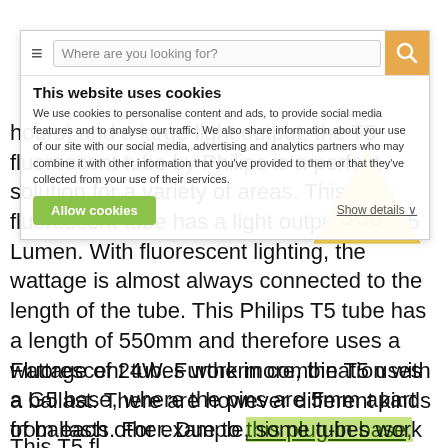hours) and a large light output, the T5 fluorescent tube by Philips is a perfect solution for a variety of areas. This T5 fluorescent tube has a light output of 1525 Lumen. With fluorescent lighting, the wattage is almost always connected to the length of the tube. This Philips T5 tube has a length of 550mm and therefore uses a wattage of 24W. Furthermore, the T5 uses a G5 base, where the pins are 5mm apart from each other. Due to this plug-in base, the fluorescent tube is easily installable.
[Figure (illustration): Yellow triangle graphic with '360°' text inside]
Fluorescent tubes work in combination with a ballast. There are however different kinds of ballasts. For example, some tubes work with a conventional ballast (EM), which needs a starter. Other tubes work with an electronic ballast (HF) where there is no need for a starter for it to work. There are also tubes that can work with both (UN). Always check that the type of ballast matches the tube.
This T5 fl...
This website uses cookies
We use cookies to personalise content and ads, to provide social media features and to analyse our traffic. We also share information about your use of our site with our social media, advertising and analytics partners who may combine it with other information that you've provided to them or that they've collected from your use of their services.
Allow cookies
Show details